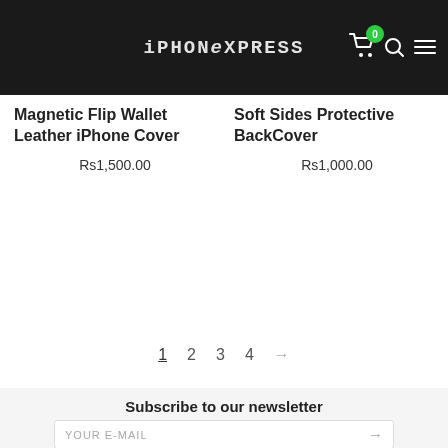iPHONExPRESS
Magnetic Flip Wallet Leather iPhone Cover
Rs1,500.00
Soft Sides Protective BackCover
Rs1,000.00
1  2  3  4  →
Subscribe to our newsletter
YOUR E-MAIL